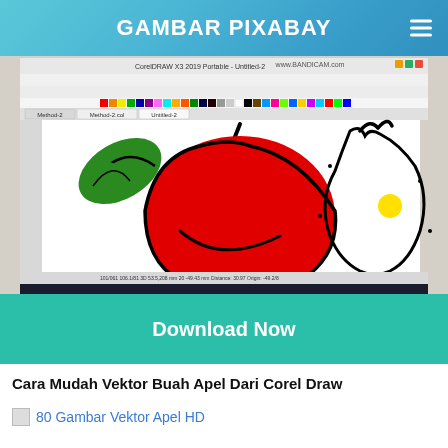GAMBAR PIXABAY
[Figure (screenshot): Screenshot of CorelDRAW software showing a vector illustration of two apples — one red with a green leaf, one outline-only with a yellow highlight — being created in the application.]
Download Now
Cara Mudah Vektor Buah Apel Dari Corel Draw
80 Gambar Vektor Apel HD